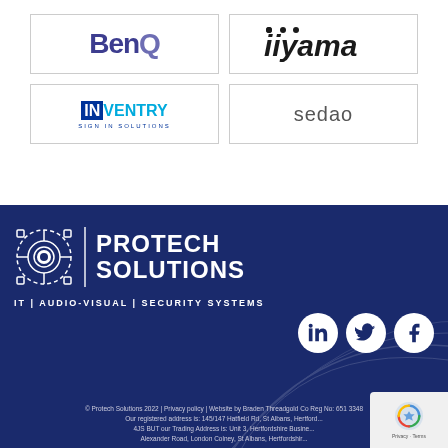[Figure (logo): BenQ logo in dark blue/purple bold text with border box]
[Figure (logo): iiyama logo in bold italic text with border box]
[Figure (logo): InVentry Sign In Solutions logo with border box]
[Figure (logo): sedao logo in light gray text with border box]
[Figure (logo): Protech Solutions company logo with icon - IT | AUDIO-VISUAL | SECURITY SYSTEMS - on dark navy blue footer background with social media icons (LinkedIn, Twitter, Facebook)]
© Protech Solutions 2022 | Privacy policy | Website by Braden Threadgold Co Reg No: 651 3348 Our registered address is: 145/147 Hatfield Rd, St Albans, Hertford... 4JS BUT our Trading Address is: Unit 3, Hertfordshire Busine... Alexander Road, London Colney, St Albans, Hertfordshir...